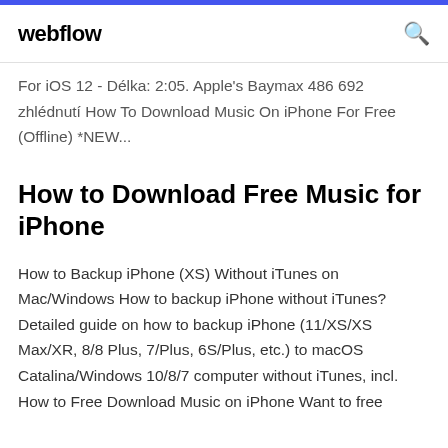webflow
For iOS 12 - Délka: 2:05. Apple's Baymax 486 692 zhlédnutí How To Download Music On iPhone For Free (Offline) *NEW...
How to Download Free Music for iPhone
How to Backup iPhone (XS) Without iTunes on Mac/Windows How to backup iPhone without iTunes? Detailed guide on how to backup iPhone (11/XS/XS Max/XR, 8/8 Plus, 7/Plus, 6S/Plus, etc.) to macOS Catalina/Windows 10/8/7 computer without iTunes, incl. How to Free Download Music on iPhone Want to free